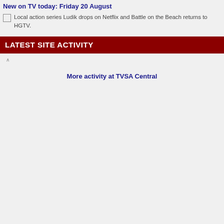New on TV today: Friday 20 August
Local action series Ludik drops on Netflix and Battle on the Beach returns to HGTV.
LATEST SITE ACTIVITY
More activity at TVSA Central